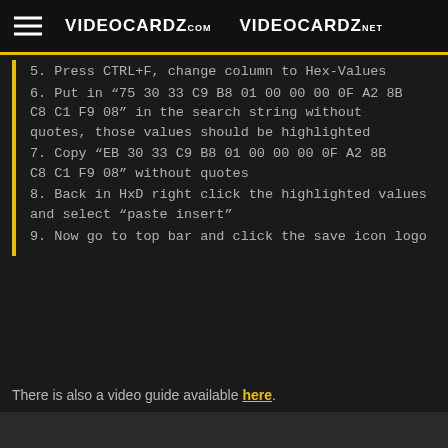VIDEOCARDZ.COM  VIDEOCARDZ.NET
5. Press CTRL+F, change column to Hex-Values
6. Put in “75 30 33 C9 B8 01 00 00 00 0F A2 8B C8 C1 F9 08” in the search string without quotes, those values should be highlighted
7. Copy “EB 30 33 C9 B8 01 00 00 00 0F A2 8B C8 C1 F9 08” without quotes
8. Back in HxD right click the highlighted values and select “paste insert”
9. Now go to top bar and click the save icon logo
There is also a video guide available here.